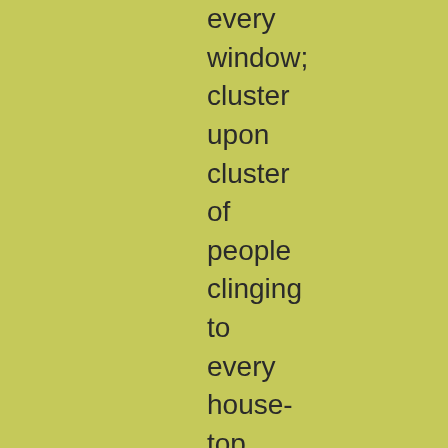every window; cluster upon cluster of people clinging to every house-top. Each little bridge (and there were three